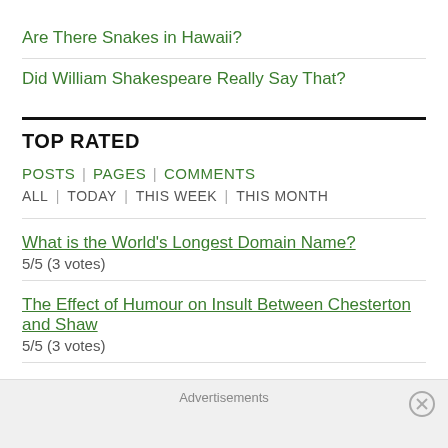Are There Snakes in Hawaii?
Did William Shakespeare Really Say That?
TOP RATED
POSTS | PAGES | COMMENTS
ALL | TODAY | THIS WEEK | THIS MONTH
What is the World's Longest Domain Name?
5/5 (3 votes)
The Effect of Humour on Insult Between Chesterton and Shaw
5/5 (3 votes)
Is Dramalog A New…
Advertisements